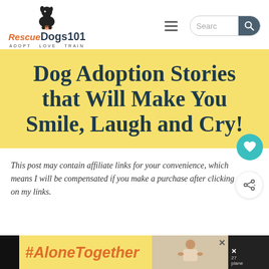[Figure (logo): RescueDogs101 logo with sitting dog silhouette and tagline ADOPT LOVE TRAIN]
[Figure (screenshot): Hamburger menu icon (three horizontal lines) and search box with magnifying glass button]
Dog Adoption Stories that Will Make You Smile, Laugh and Cry!
This post may contain affiliate links for your convenience, which means I will be compensated if you make a purchase after clicking on my links.
[Figure (screenshot): Social share buttons: heart/save button with count 128, and share button]
[Figure (screenshot): Advertisement banner with #AloneTogether hashtag in orange on yellow background, with woman photo and close button]